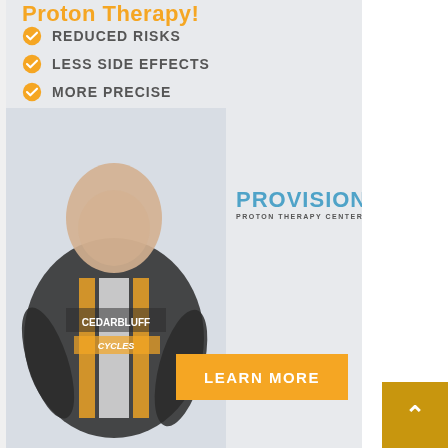Proton Therapy!
REDUCED RISKS
LESS SIDE EFFECTS
MORE PRECISE
[Figure (logo): Provision Proton Therapy Center logo with orange figure icon and blue PROVISION text]
[Figure (photo): Elderly man smiling wearing a Cedar Bluff Cycles cycling jersey, standing next to a bicycle]
LEARN MORE